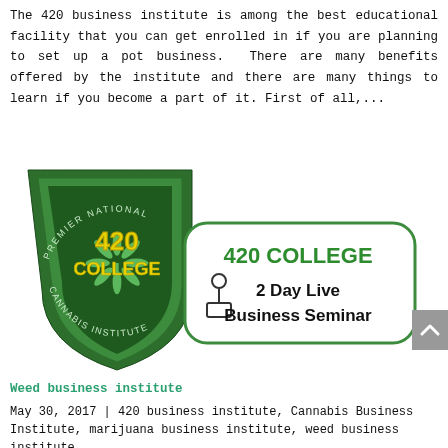The 420 business institute is among the best educational facility that you can get enrolled in if you are planning to set up a pot business.  There are many benefits offered by the institute and there are many things to learn if you become a part of it. First of all,...
[Figure (logo): 420 College Premier National Cannabis Institute logo (shield with cannabis leaf, yellow text '420 COLLEGE') next to a rounded rectangle banner reading '420 COLLEGE 2 Day Live Business Seminar' with a small lecturer icon.]
Weed business institute
May 30, 2017 | 420 business institute, Cannabis Business Institute, marijuana business institute, weed business institute